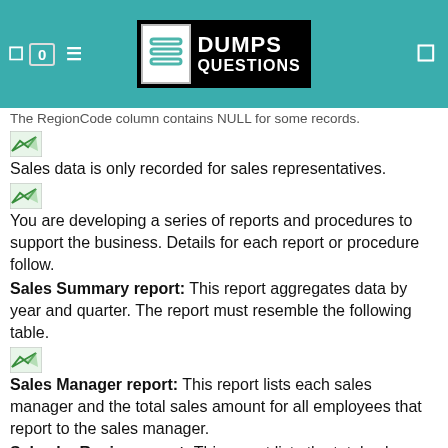DUMPS QUESTIONS
The RegionCode column contains NULL for some records.
Sales data is only recorded for sales representatives.
You are developing a series of reports and procedures to support the business. Details for each report or procedure follow.
Sales Summary report: This report aggregates data by year and quarter. The report must resemble the following table.
Sales Manager report: This report lists each sales manager and the total sales amount for all employees that report to the sales manager.
Sales by Region report: This report lists the total sales amount by employee and by region. The report must include the following columns: EmployeeCode, MiddleName, LastName, RegionCode, and SalesAmount. If